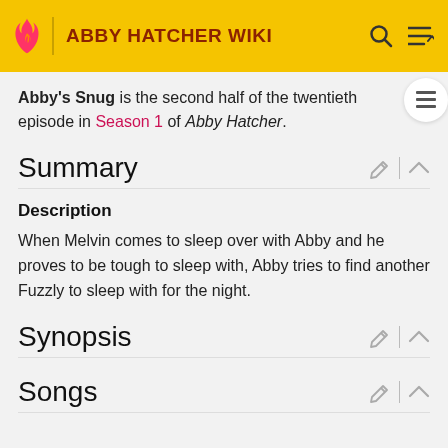ABBY HATCHER WIKI
Abby's Snug is the second half of the twentieth episode in Season 1 of Abby Hatcher.
Summary
Description
When Melvin comes to sleep over with Abby and he proves to be tough to sleep with, Abby tries to find another Fuzzly to sleep with for the night.
Synopsis
Songs